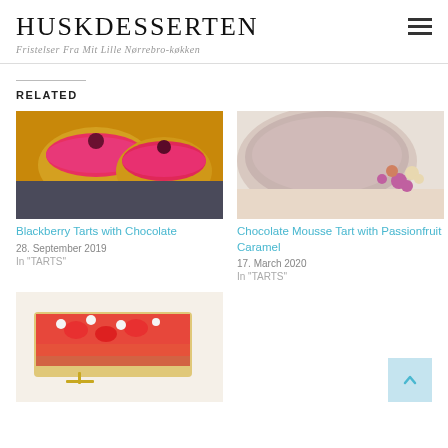HUSKDESSERTEN
Fristelser Fra Mit Lille Nørrebro-køkken
RELATED
[Figure (photo): Pink frosted blackberry tarts on a dark slate surface]
Blackberry Tarts with Chocolate
28. September 2019
In "TARTS"
[Figure (photo): Chocolate mousse tart with passionfruit caramel, decorated with chocolate spheres]
Chocolate Mousse Tart with Passionfruit Caramel
17. March 2020
In "TARTS"
[Figure (photo): Rectangular fruit tart with strawberries, redcurrants and cream on white background with gold fork]